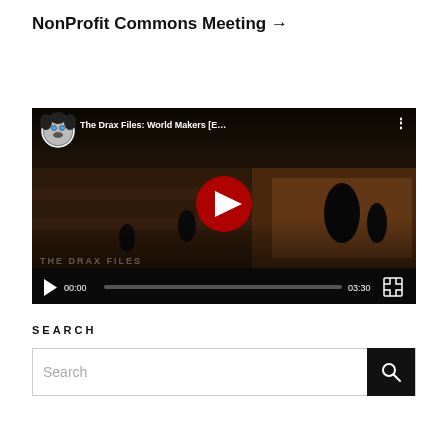NonProfit Commons Meeting →
[Figure (screenshot): Embedded YouTube video player showing 'The Drax Files: World Makers [E…' with avatar thumbnail, play button, progress bar at 00:00 of 03:30 duration, fullscreen button, and dark video scene with virtual world characters.]
SEARCH
Search